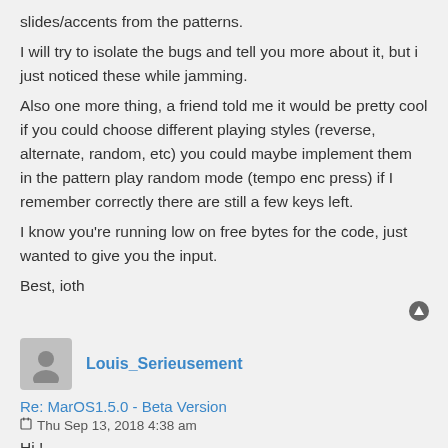slides/accents from the patterns.
I will try to isolate the bugs and tell you more about it, but i just noticed these while jamming.
Also one more thing, a friend told me it would be pretty cool if you could choose different playing styles (reverse, alternate, random, etc) you could maybe implement them in the pattern play random mode (tempo enc press) if I remember correctly there are still a few keys left.
I know you're running low on free bytes for the code, just wanted to give you the input.
Best, ioth
Louis_Serieusement
Re: MarOS1.5.0 - Beta Version
Thu Sep 13, 2018 4:38 am
Hi !